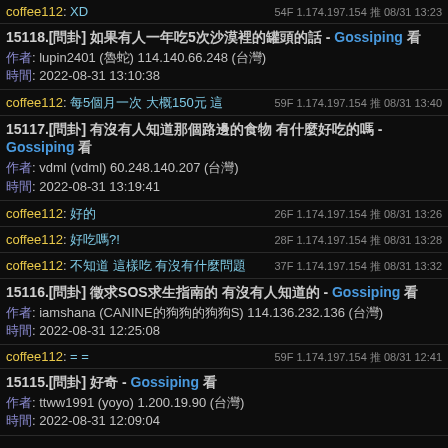coffee112: XD  54F 1.174.197.154 08/31 13:23
15118.[問卦] 如果有人一年吃5次沙漠裡的罐頭 - Gossiping 看板
作者: lupin2401 (魯蛇) 114.140.66.248 (台灣)
時間: 2022-08-31 13:10:38
coffee112: 每5個月一次 大概150元 這  59F 1.174.197.154 08/31 13:40
15117.[問卦] 有沒有人知道那個路邊的食物 有什麼好吃的嗎 - Gossiping 看板
作者: vdml (vdml) 60.248.140.207 (台灣)
時間: 2022-08-31 13:19:41
coffee112: 好的  26F 1.174.197.154 08/31 13:26
coffee112: 好吃嗎?!  28F 1.174.197.154 08/31 13:28
coffee112: 不知道 這樣吃 有沒有什麼問題  37F 1.174.197.154 08/31 13:32
15116.[問卦] 徵求SOS求生指南的 有沒有人知道的 - Gossiping 看板
作者: iamshana (CANINE的狗狗的狗狗S) 114.136.232.136 (台灣)
時間: 2022-08-31 12:25:08
coffee112: = =  59F 1.174.197.154 08/31 12:41
15115.[問卦] 好奇 - Gossiping 看板
作者: ttww1991 (yoyo) 1.200.19.90 (台灣)
時間: 2022-08-31 12:09:04